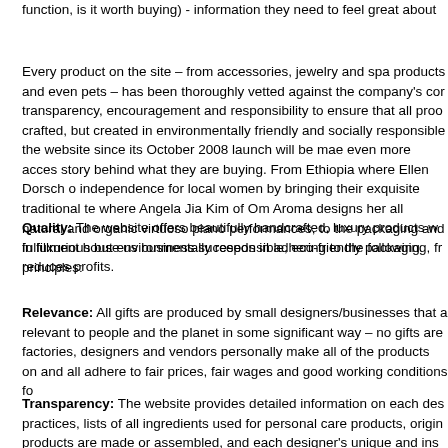function, is it worth buying) - information they need to feel great about
Every product on the site – from accessories, jewelry and spa products and even pets – has been thoroughly vetted against the company's core transparency, encouragement and responsibility to ensure that all products are crafted, but created in environmentally friendly and socially responsible ways. the website since its October 2008 launch will be mae even more accessible story behind what they are buying. From Ethiopia where Ellen Dorsch offers independence for local women by bringing their exquisite traditional te where Angela Jia Kim of Om Aroma designs her all natural and organic virtuoso piano performances, to the packaging and fulfillment house us business succeeds in adhering to the following principles:
Quality: The website offers beautifully handcrafted, luxury products w in luxurious but environmentally responsible, eco-friendly packaging, fr reduces profits.
Relevance: All gifts are produced by small designers/businesses that a relevant to people and the planet in some significant way – no gifts are factories, designers and vendors personally make all of the products on and all adhere to fair prices, fair wages and good working conditions fo
Transparency: The website provides detailed information on each des practices, lists of all ingredients used for personal care products, origin products are made or assembled, and each designer's unique and ins